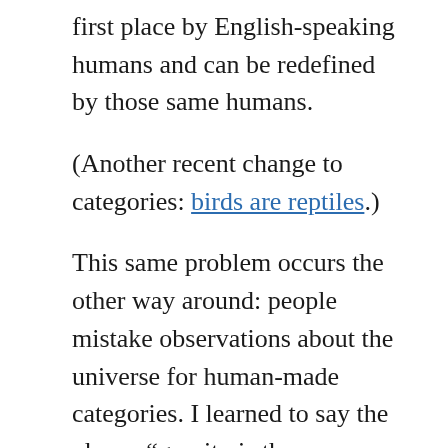first place by English-speaking humans and can be redefined by those same humans.
(Another recent change to categories: birds are reptiles.)
This same problem occurs the other way around: people mistake observations about the universe for human-made categories. I learned to say the phrase “gravity is the curvature of spacetime” when I was 9. It successfully impressed a lot of grownups, but the image in my head was a stretched-out tarp with a ball in the middle. It took nearly a decade for me to actually understand enough physics and math to grasp its real meaning. And when I did, my